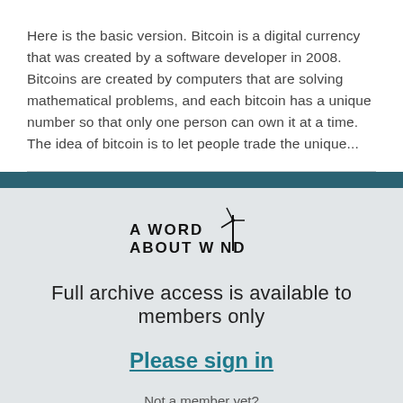Here is the basic version. Bitcoin is a digital currency that was created by a software developer in 2008. Bitcoins are created by computers that are solving mathematical problems, and each bitcoin has a unique number so that only one person can own it at a time. The idea of bitcoin is to let people trade the unique...
[Figure (logo): A Word About Wind logo with wind turbine graphic]
Full archive access is available to members only
Please sign in
Not a member yet?